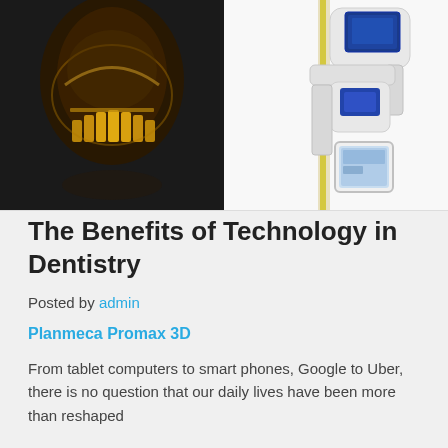[Figure (photo): Two dental/medical imaging photos side by side: left shows a 3D X-ray scan of teeth/jaw in dark background with golden highlights; right shows a Planmeca Promax 3D dental imaging machine (white device with arm and attached tablet) on white background.]
The Benefits of Technology in Dentistry
Posted by admin
Planmeca Promax 3D
From tablet computers to smart phones, Google to Uber, there is no question that our daily lives have been more than reshaped